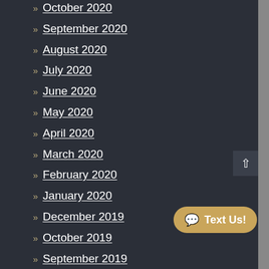» October 2020
» September 2020
» August 2020
» July 2020
» June 2020
» May 2020
» April 2020
» March 2020
» February 2020
» January 2020
» December 2019
» October 2019
» September 2019
» August 2019
» July 2019